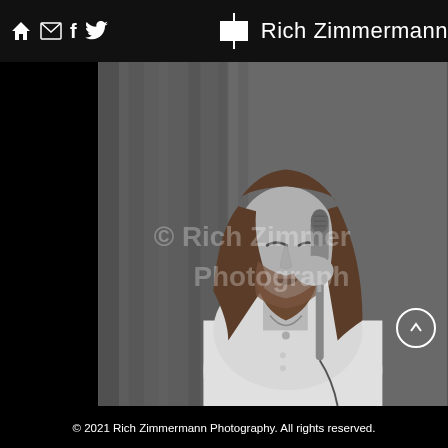Rich Zimmermann Photography - navigation bar with home, email, facebook, twitter icons
[Figure (photo): Black and white photograph of a bearded man with long hair, eyes closed, singing or speaking into a microphone, wearing a white t-shirt with a necklace, in front of a curtained background. Watermark text reads: © Rich Zimmermann Photography]
© 2021 Rich Zimmermann Photography. All rights reserved.